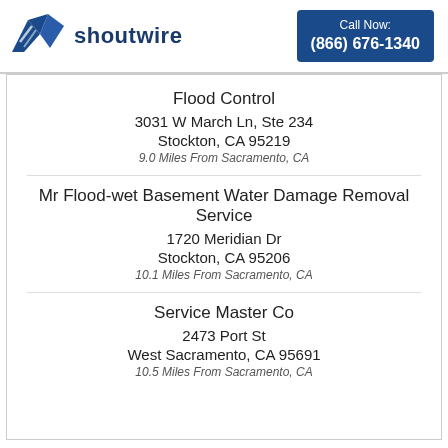[Figure (logo): Shoutwire logo with blue bird/wing icon and 'shoutwire' text]
Call Now:
(866) 676-1340
Flood Control
3031 W March Ln, Ste 234
Stockton, CA 95219
9.0 Miles From Sacramento, CA
Mr Flood-wet Basement Water Damage Removal Service
1720 Meridian Dr
Stockton, CA 95206
10.1 Miles From Sacramento, CA
Service Master Co
2473 Port St
West Sacramento, CA 95691
10.5 Miles From Sacramento, CA